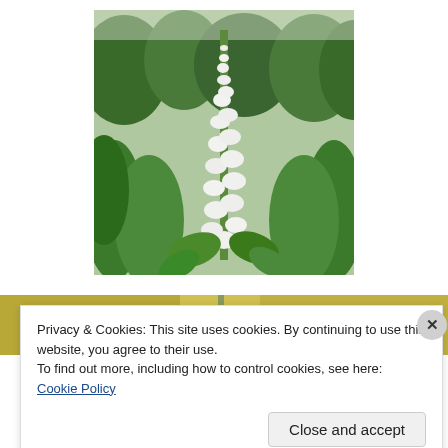[Figure (photo): A tall plant with white flower spike growing among green leafy vegetation in an outdoor field setting. The plant has a vertical white floral raceme with numerous white blooms, surrounded by dense green foliage.]
[Figure (photo): Partial view of another plant image, mostly obscured by the cookie consent banner. Yellowish-green background visible.]
Privacy & Cookies: This site uses cookies. By continuing to use this website, you agree to their use.
To find out more, including how to control cookies, see here: Cookie Policy
Close and accept